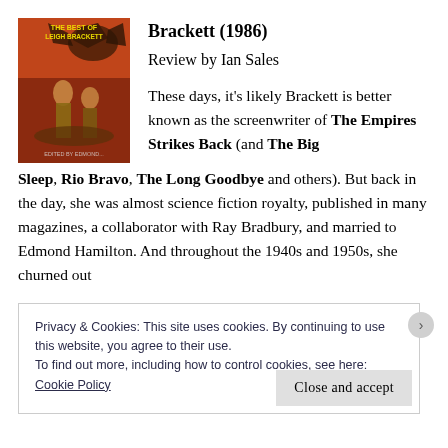[Figure (illustration): Book cover of 'The Best of Leigh Brackett' (1986), featuring fantasy/sci-fi artwork with figures and a dragon-like creature on a reddish-orange background.]
Brackett (1986)
Review by Ian Sales
These days, it's likely Brackett is better known as the screenwriter of The Empires Strikes Back (and The Big Sleep, Rio Bravo, The Long Goodbye and others). But back in the day, she was almost science fiction royalty, published in many magazines, a collaborator with Ray Bradbury, and married to Edmond Hamilton. And throughout the 1940s and 1950s, she churned out
Privacy & Cookies: This site uses cookies. By continuing to use this website, you agree to their use.
To find out more, including how to control cookies, see here:
Cookie Policy
Close and accept